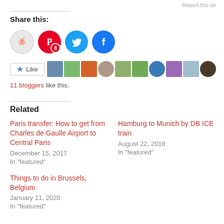Report this as
Share this:
[Figure (infographic): Social share buttons: Reddit (gray circle), Pinterest (red circle with badge 8), Twitter (blue circle), Facebook (blue circle)]
[Figure (infographic): Like button and strip of 10 blogger avatars]
11 bloggers like this.
Related
Paris transfer: How to get from Charles de Gaulle Airport to Central Paris
December 15, 2017
In "featured"
Hamburg to Munich by DB ICE train
August 22, 2018
In "featured"
Things to do in Brussels, Belgium
January 11, 2020
In "featured"